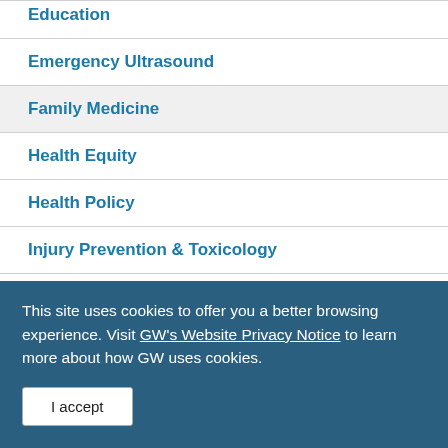Education
Emergency Ultrasound
Family Medicine
Health Equity
Health Policy
Injury Prevention & Toxicology
Innovative Practice & Telehealth
This site uses cookies to offer you a better browsing experience. Visit GW's Website Privacy Notice to learn more about how GW uses cookies.
I accept